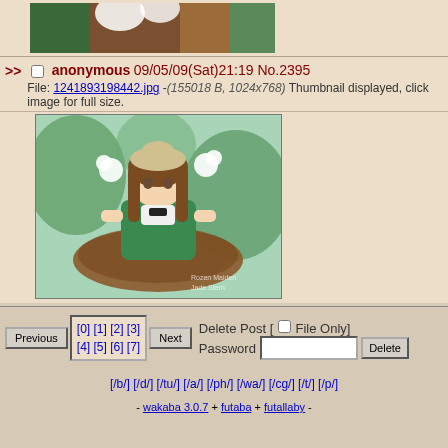[Figure (illustration): Cropped top portion of an anime-style illustration showing brown hair and green foliage]
>> anonymous 09/05/09(Sat)21:19 No.2395
File: 1241893198442.jpg -(155018 B, 1024x768) Thumbnail displayed, click image for full size.
[Figure (illustration): Anime illustration of a girl in a green dress with brown hair holding white flowers, sitting in a wreath]
Delete Post [ ] File Only]
Password [          ] Delete
Previous [0][1][2][3][4][5][6][7] Next
[/b/] [/d/] [/tu/] [/a/] [/ph/] [/wa/] [/cg/] [/t/] [/p/]
- wakaba 3.0.7 + futaba + futallaby -